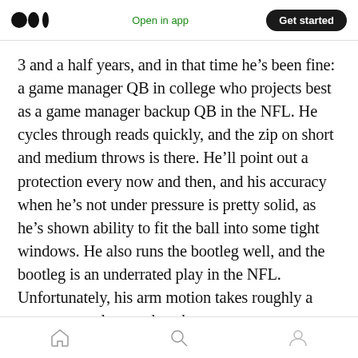Medium app navigation bar with logo, Open in app, Get started
3 and a half years, and in that time he’s been fine: a game manager QB in college who projects best as a game manager backup QB in the NFL. He cycles through reads quickly, and the zip on short and medium throws is there. He’ll point out a protection every now and then, and his accuracy when he’s not under pressure is pretty solid, as he’s shown ability to fit the ball into some tight windows. He also runs the bootleg well, and the bootleg is an underrated play in the NFL. Unfortunately, his arm motion takes roughly a year to complete, and so throws
Home, Search, Profile navigation icons